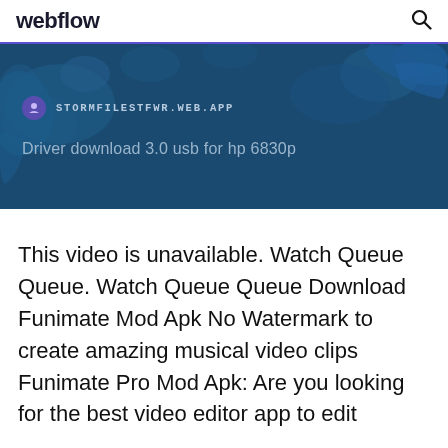webflow
[Figure (screenshot): A dark blue banner with a world map background. Shows a favicon icon followed by the URL 'STORMFILESTFWR.WEB.APP' in monospace text, and below it the text 'Driver download 3.0 usb for hp 6830p']
This video is unavailable. Watch Queue Queue. Watch Queue Queue Download Funimate Mod Apk No Watermark to create amazing musical video clips Funimate Pro Mod Apk: Are you looking for the best video editor app to edit